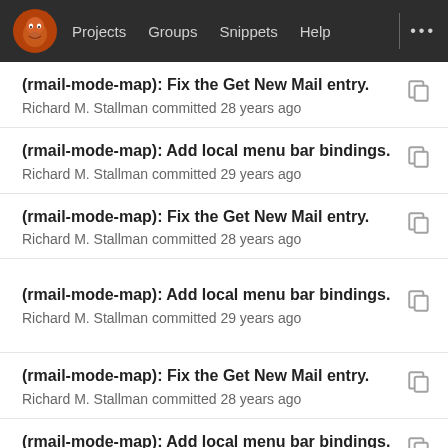Projects  Groups  Snippets  Help  ...
(rmail-mode-map): Fix the Get New Mail entry.
Richard M. Stallman committed 28 years ago
(rmail-mode-map): Add local menu bar bindings.
Richard M. Stallman committed 29 years ago
(rmail-mode-map): Fix the Get New Mail entry.
Richard M. Stallman committed 28 years ago
(rmail-mode-map): Add local menu bar bindings.
Richard M. Stallman committed 29 years ago
(rmail-mode-map): Fix the Get New Mail entry.
Richard M. Stallman committed 28 years ago
(rmail-mode-map): Add local menu bar bindings.
Richard M. Stallman committed 29 years ago
(rmail-mode-map): Fix the Get New Mail entry.